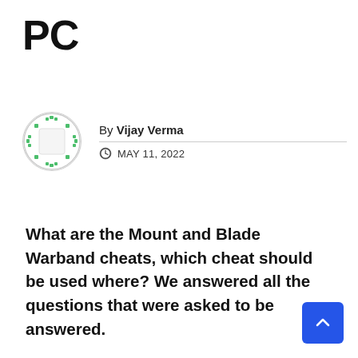PC
By Vijay Verma
MAY 11, 2022
What are the Mount and Blade Warband cheats, which cheat should be used where? We answered all the questions that were asked to be answered.